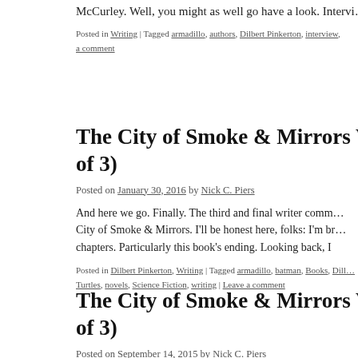McCurley. Well, you might as well go have a look. Intervi…
Posted in Writing | Tagged armadillo, authors, Dilbert Pinkerton, interview, … a comment
The City of Smoke & Mirrors Writer … of 3)
Posted on January 30, 2016 by Nick C. Piers
And here we go. Finally. The third and final writer comm… City of Smoke & Mirrors. I'll be honest here, folks: I'm br… chapters. Particularly this book's ending. Looking back, I
Posted in Dilbert Pinkerton, Writing | Tagged armadillo, batman, Books, Dill… Turtles, novels, Science Fiction, writing | Leave a comment
The City of Smoke & Mirrors Writer … of 3)
Posted on September 14, 2015 by Nick C. Piers